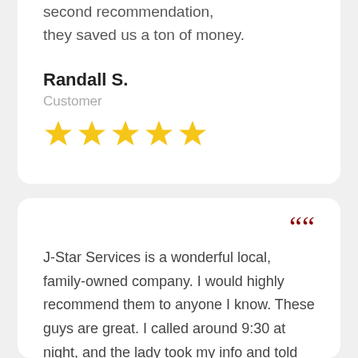second recommendation, they saved us a ton of money.
Randall S.
Customer
[Figure (other): 5 gold stars rating]
J-Star Services is a wonderful local, family-owned company. I would highly recommend them to anyone I know. These guys are great. I called around 9:30 at night, and the lady took my info and told me I